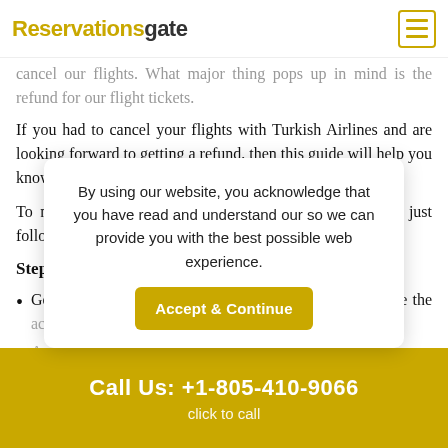Reservationsgate
cancel our flights. What major thing pops up in mind is the refund for our flight tickets.
If you had to cancel your flights with Turkish Airlines and are looking forward to getting a refund, then this guide will help you know about the same.
To make a Turkish Airlines refund request, you have to just follow the steps mentioned below;
Steps to Get a Refund from Turkish Airlines:
Go to the operative website of Turkish Airlines and make the account login that you have made.
A...y
T
By using our website, you acknowledge that you have read and understand our so we can provide you with the best possible web experience.
Call Us: +1-805-410-9066
click to call